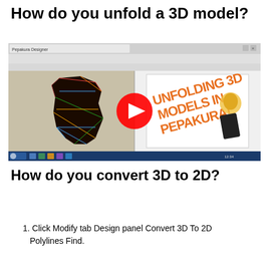How do you unfold a 3D model?
[Figure (screenshot): YouTube video thumbnail showing a screenshot of Pepakura software with a 3D model of a fist/arm on the left side and text 'UNFOLDING 3D MODELS IN PEPAKURA!' on the right, with a YouTube play button overlay in the center. The software window shows a Windows taskbar at top and bottom.]
How do you convert 3D to 2D?
1. Click Modify tab Design panel Convert 3D To 2D Polylines Find.